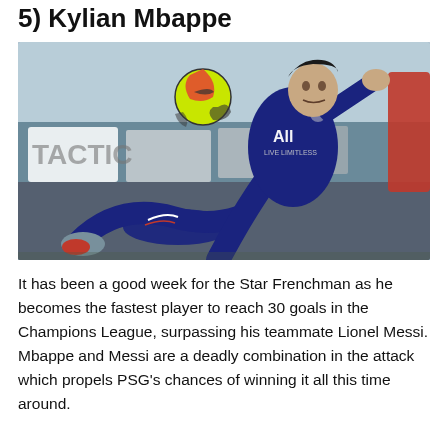5) Kylian Mbappe
[Figure (photo): Action photo of Kylian Mbappe in PSG dark navy blue kit with 'All Live Limitless' sponsor, kicking a ball mid-air during a football match]
It has been a good week for the Star Frenchman as he becomes the fastest player to reach 30 goals in the Champions League, surpassing his teammate Lionel Messi. Mbappe and Messi are a deadly combination in the attack which propels PSG's chances of winning it all this time around.